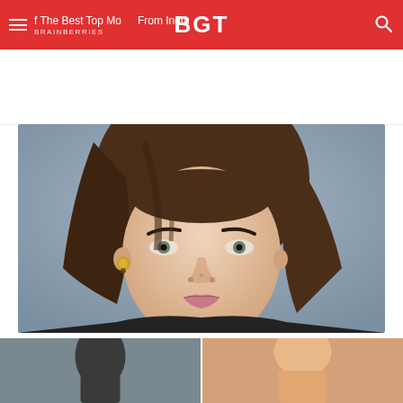BGT
of The Best Top Models From India
BRAINBERRIES
[Figure (photo): Close-up portrait of Maisie Williams with brown hair, wearing a decorative gold earring, looking directly at camera against a light blue-grey background.]
These Maisie Williams Facts Are Bound To Shock You
BRAINBERRIES
[Figure (photo): Two partial thumbnail images at the bottom of the page, partially cropped.]